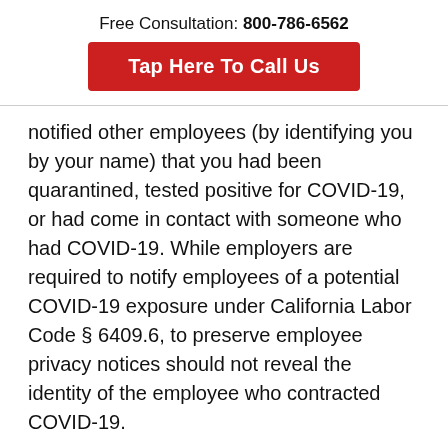Free Consultation: 800-786-6562
Tap Here To Call Us
notified other employees (by identifying you by your name) that you had been quarantined, tested positive for COVID-19, or had come in contact with someone who had COVID-19. While employers are required to notify employees of a potential COVID-19 exposure under California Labor Code § 6409.6, to preserve employee privacy notices should not reveal the identity of the employee who contracted COVID-19.
Contact us if you have been terminated because your employer required its employees